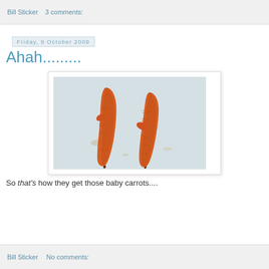Bill Sticker    3 comments:
Friday, 9 October 2009
Ahah.........
[Figure (photo): Two oddly-shaped carrots with small protruding side roots, lying on a white cutting board with stains and marks.]
So that's how they get those baby carrots....
Bill Sticker    No comments: